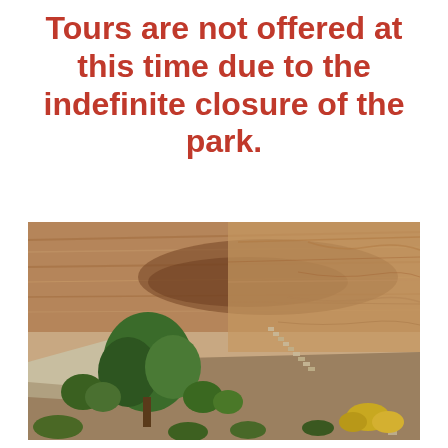Tours are not offered at this time due to the indefinite closure of the park.
[Figure (photo): Outdoor photograph of a red sandstone canyon wall with layered rock formations. Green shrubs and trees are visible in the foreground and middle ground, with stone steps cut into the rock face leading up the cliff. Yellow flowering shrubs are visible at the lower right.]